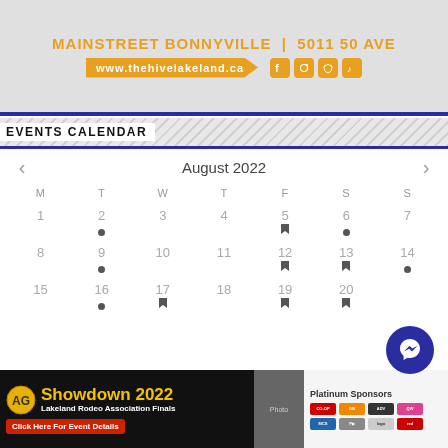Mainstreet Bonnyville | 5011 50 Ave
www.thehivelakeland.ca
Events Calendar
| M | T | W | T | F | S | S |
| --- | --- | --- | --- | --- | --- | --- |
| 1 | 2 | 3 | 4 | 5 | 6 | 7 |
| 8 | 9 | 10 | 11 | 12 | 13 | 14 |
| 15 | 16 | 17 | 18 | 19 | 20 |  |
[Figure (other): AG Showdown 2022 Lakeland Rodeo Association Finals advertisement banner with Click Here For Event Details button and Platinum Sponsors logos]